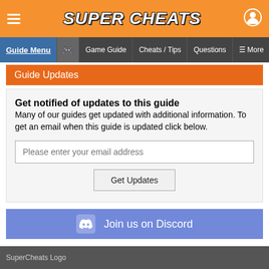SUPER CHEATS
Guide Menu | Game Guide | Cheats / Tips | Questions | More
Guide Updates
Get notified of updates to this guide
Many of our guides get updated with additional information. To get an email when this guide is updated click below.
Please enter your email address
Get Updates
Join us on Discord
Jump Back to the Top of the Guide and Table of Contents
SuperCheats Logo